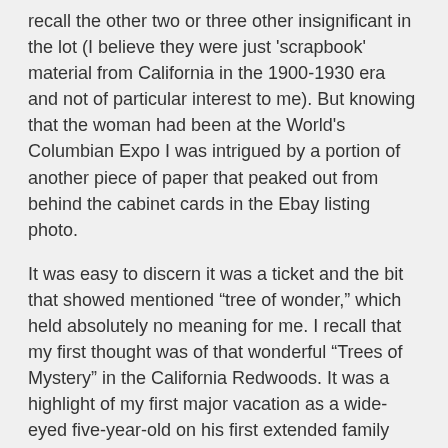recall the other two or three other insignificant in the lot (I believe they were just 'scrapbook' material from California in the 1900-1930 era and not of particular interest to me). But knowing that the woman had been at the World's Columbian Expo I was intrigued by a portion of another piece of paper that peaked out from behind the cabinet cards in the Ebay listing photo.
It was easy to discern it was a ticket and the bit that showed mentioned “tree of wonder,” which held absolutely no meaning for me. I recall that my first thought was of that wonderful “Trees of Mystery” in the California Redwoods. It was a highlight of my first major vacation as a wide-eyed five-year-old on his first extended family vacation. I couldn’t think of a correlation between that “ticket” and the Columbian Expo but it seemed a possibility.